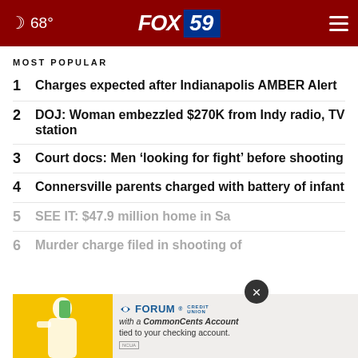☾ 68° FOX 59
MOST POPULAR
1 Charges expected after Indianapolis AMBER Alert
2 DOJ: Woman embezzled $270K from Indy radio, TV station
3 Court docs: Men 'looking for fight' before shooting
4 Connersville parents charged with battery of infant
5 SEE IT: $47.9 million home in Sa...
6 Murder charge filed in shooting of
[Figure (infographic): Forum Credit Union advertisement banner with yellow and white sections, person holding phone, text 'with a CommonCents Account tied to your checking account.' and Forum Credit Union logo]